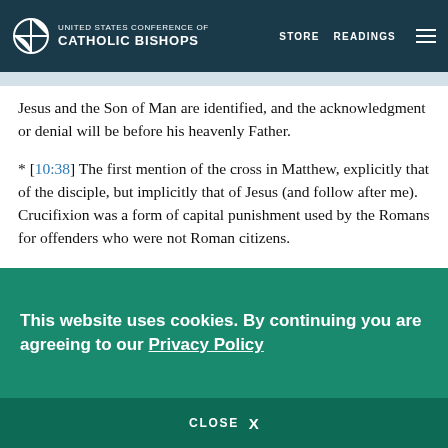UNITED STATES CONFERENCE OF CATHOLIC BISHOPS | STORE | READINGS
Jesus and the Son of Man are identified, and the acknowledgment or denial will be before his heavenly Father.
* [10:38] The first mention of the cross in Matthew, explicitly that of the disciple, but implicitly that of Jesus (and follow after me). Crucifixion was a form of capital punishment used by the Romans for offenders who were not Roman citizens.
* [10:39] One who denies Jesus in order to save one’s earthly life will be condemned to everlasting destruction; loss of earthly life for Jesus’ sake will be rewarded by everlasting life in the hereafter.
This website uses cookies. By continuing you are agreeing to our Privacy Policy
CLOSE  X